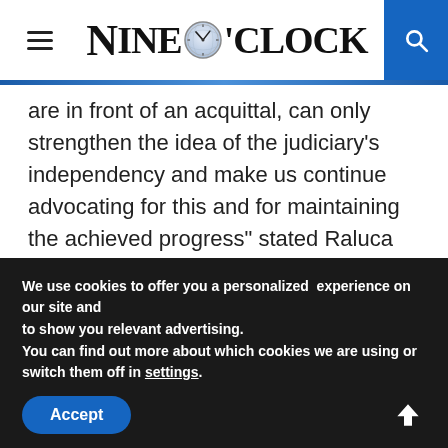Nine O'Clock
are in front of an acquittal, can only strengthen the idea of the judiciary's independency and make us continue advocating for this and for maintaining the achieved progress” stated Raluca Turcan at the Parliament’s Palace, at the end of a meeting with the PNL parliamentarians.
We use cookies to offer you a personalized experience on our site and
to show you relevant advertising.
You can find out more about which cookies we are using or switch them off in settings.